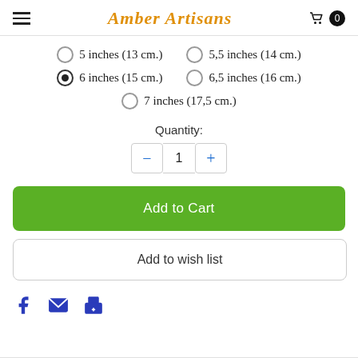Amber Artisans
5 inches (13 cm.)
5,5 inches (14 cm.)
6 inches (15 cm.) [selected]
6,5 inches (16 cm.)
7 inches (17,5 cm.)
Quantity: 1
Add to Cart
Add to wish list